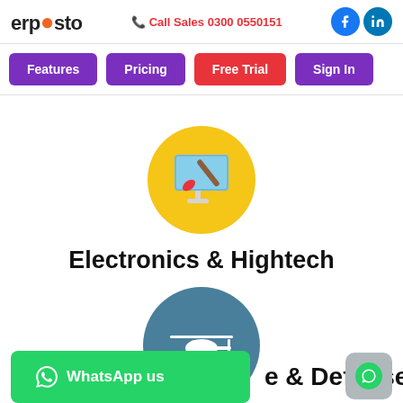erpesto | Call Sales 0300 0550151
[Figure (illustration): Navigation bar with Features, Pricing, Free Trial, Sign In buttons]
[Figure (illustration): Yellow circle with computer monitor and paintbrush icon]
Electronics & Hightech
[Figure (illustration): Teal circle with military helicopter/drone icon]
e & Defense
[Figure (illustration): Green WhatsApp us button and chat bubble widget]